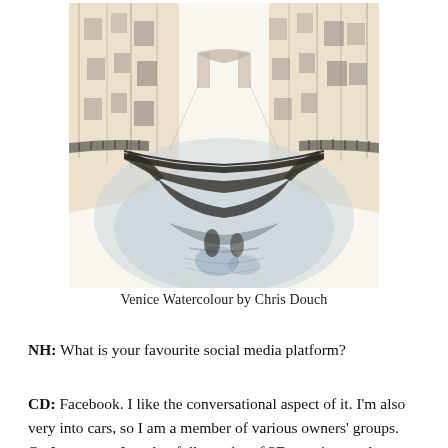[Figure (illustration): A watercolour illustration of a Venice canal with a bridge, buildings on either side, and water reflections. The style is loose and artistic with muted tones of cream, grey, and pale blue.]
Venice Watercolour by Chris Douch
NH: What is your favourite social media platform?
CD: Facebook. I like the conversational aspect of it. I'm also very into cars, so I am a member of various owners' groups. On Instagram, I tend to follow a lot of 3D creatives and portrait